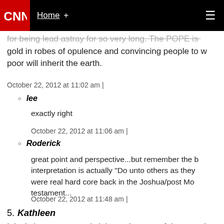CNN Home +
for being lead astray for so very long. The POPE is gold in robes of opulence and convincing people to w poor will inherit the earth.
October 22, 2012 at 11:02 am |
lee
exactly right
October 22, 2012 at 11:06 am |
Roderick
great point and perspective...but remember the b interpretation is actually "Do unto others as they were real hard core back in the Joshua/post Mo testament...
October 22, 2012 at 11:48 am |
5. Kathleen
It isn't the government's job to take care of the poor. It